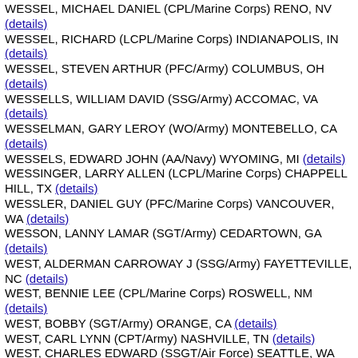WESSEL, MICHAEL DANIEL (CPL/Marine Corps) RENO, NV (details)
WESSEL, RICHARD (LCPL/Marine Corps) INDIANAPOLIS, IN (details)
WESSEL, STEVEN ARTHUR (PFC/Army) COLUMBUS, OH (details)
WESSELLS, WILLIAM DAVID (SSG/Army) ACCOMAC, VA (details)
WESSELMAN, GARY LEROY (WO/Army) MONTEBELLO, CA (details)
WESSELS, EDWARD JOHN (AA/Navy) WYOMING, MI (details)
WESSINGER, LARRY ALLEN (LCPL/Marine Corps) CHAPPELL HILL, TX (details)
WESSLER, DANIEL GUY (PFC/Marine Corps) VANCOUVER, WA (details)
WESSON, LANNY LAMAR (SGT/Army) CEDARTOWN, GA (details)
WEST, ALDERMAN CARROWAY J (SSG/Army) FAYETTEVILLE, NC (details)
WEST, BENNIE LEE (CPL/Marine Corps) ROSWELL, NM (details)
WEST, BOBBY (SGT/Army) ORANGE, CA (details)
WEST, CARL LYNN (CPT/Army) NASHVILLE, TN (details)
WEST, CHARLES EDWARD (SSGT/Air Force) SEATTLE, WA (details)